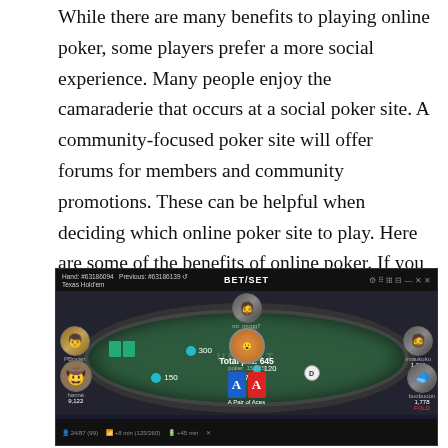While there are many benefits to playing online poker, some players prefer a more social experience. Many people enjoy the camaraderie that occurs at a social poker site. A community-focused poker site will offer forums for members and community promotions. These can be helpful when deciding which online poker site to play. Here are some of the benefits of online poker. If you like playing with friends and having fun, consider an online community-focused site.
[Figure (screenshot): Screenshot of an online poker game interface (Unibet poker client) showing a Texas Hold'em table with multiple players, avatars, chip counts, cards showing A A (Pair of Aces), and total pot of 645.]